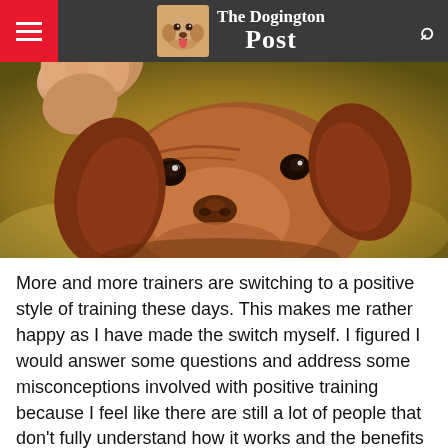The Dogington Post
[Figure (photo): Close-up photo of a brown/tan dog (appears to be a Vizsla or similar breed) looking up toward a human hand, bokeh background.]
More and more trainers are switching to a positive style of training these days. This makes me rather happy as I have made the switch myself. I figured I would answer some questions and address some misconceptions involved with positive training because I feel like there are still a lot of people that don't fully understand how it works and the benefits that can come from it.